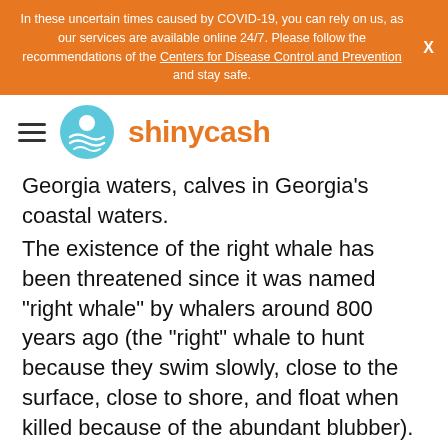In these uncertain times caused by COVID-19, you can rely on us, as our services are available online 24/7. Please follow the recommendations of the Centers for Disease Control and Prevention and stay safe.
[Figure (logo): Shinycash logo with hamburger menu icon, circular blue logo with wave/sun design, and orange brand name 'shinycash']
Georgia waters, calves in Georgia's coastal waters.
The existence of the right whale has been threatened since it was named "right whale" by whalers around 800 years ago (the "right" whale to hunt because they swim slowly, close to the surface, close to shore, and float when killed because of the abundant blubber). Whale oil was used in lamps and perfume, and their baleen was used to make buggy whips, umbrella ribs, corset stays, hair brushes